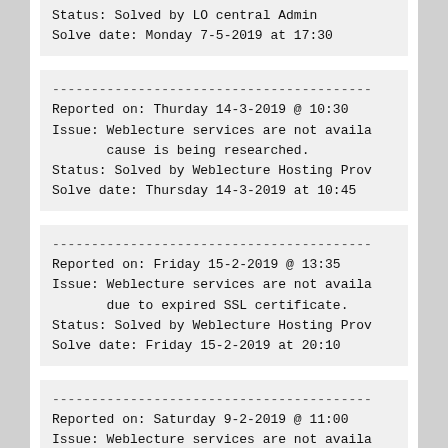Status: Solved by LO central Admin
Solve date: Monday 7-5-2019 at 17:30
----------------------------------------
Reported on: Thurday 14-3-2019 @ 10:30
Issue: Weblecture services are not available, cause is being researched.
Status: Solved by Weblecture Hosting Provider
Solve date: Thursday 14-3-2019 at 10:45
----------------------------------------
Reported on: Friday 15-2-2019 @ 13:35
Issue: Weblecture services are not available due to expired SSL certificate.
Status: Solved by Weblecture Hosting Provider
Solve date: Friday 15-2-2019 at 20:10
----------------------------------------
Reported on: Saturday 9-2-2019 @ 11:00
Issue: Weblecture services are not available